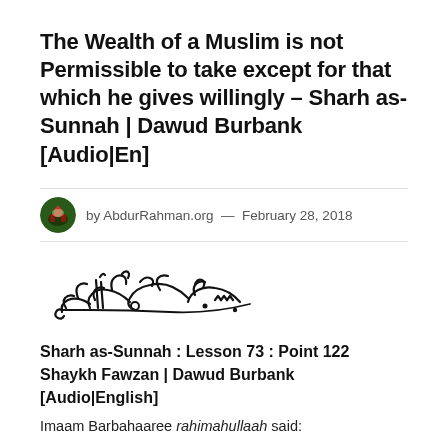The Wealth of a Muslim is not Permissible to take except for that which he gives willingly – Sharh as-Sunnah | Dawud Burbank [Audio|En]
by AbdurRahman.org — February 28, 2018
[Figure (illustration): Bismillah calligraphy in Arabic script]
Sharh as-Sunnah : Lesson 73 : Point 122
Shaykh Fawzan | Dawud Burbank
[Audio|English]
Imaam Barbahaaree rahimahullaah said: